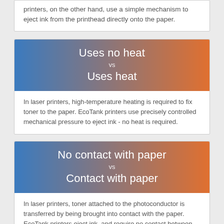printers, on the other hand, use a simple mechanism to eject ink from the printhead directly onto the paper.
[Figure (infographic): Gradient banner (blue to orange) with text: 'Uses no heat vs Uses heat']
In laser printers, high-temperature heating is required to fix toner to the paper. EcoTank printers use precisely controlled mechanical pressure to eject ink - no heat is required.
[Figure (infographic): Gradient banner (blue to orange) with text: 'No contact with paper vs Contact with paper']
In laser printers, toner attached to the photoconductor is transferred by being brought into contact with the paper. EcoTank printers eject ink, and require no contact between printhead and paper.